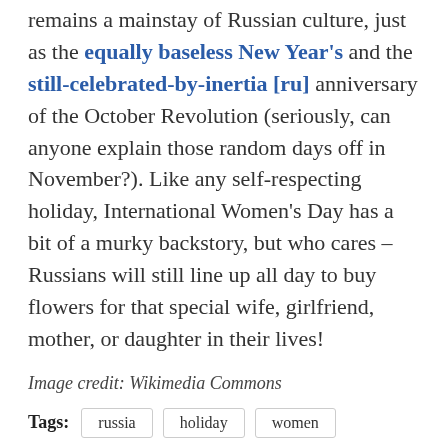remains a mainstay of Russian culture, just as the equally baseless New Year's and the still-celebrated-by-inertia [ru] anniversary of the October Revolution (seriously, can anyone explain those random days off in November?). Like any self-respecting holiday, International Women's Day has a bit of a murky backstory, but who cares – Russians will still line up all day to buy flowers for that special wife, girlfriend, mother, or daughter in their lives!
Image credit: Wikimedia Commons
Tags: russia   holiday   women   socialism
YOU MIGHT ALSO LIKE